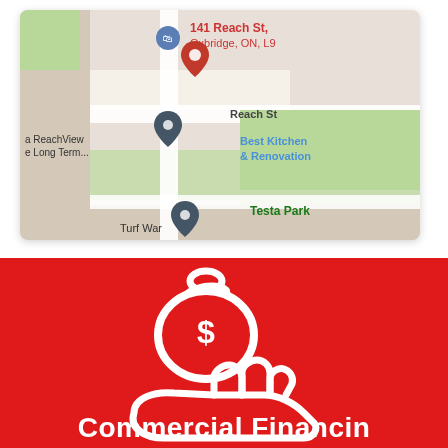[Figure (map): Google Maps screenshot showing 141 Reach St, Oxbridge, ON with map pins. Visible labels include: KidsPop, ReachView Long Term, Reach St, Best Kitchen & Renovation, Turf War, Testa Park.]
[Figure (illustration): Red banner with white icon of a hand holding a money bag with a dollar sign. Text at the bottom reads 'Commercial Financing' (partially visible).]